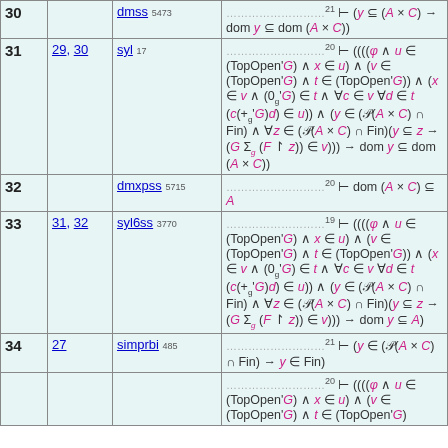| # | Refs | Rule | Formula |
| --- | --- | --- | --- |
| 30 |  | dmss 5473 | …21 ⊢ (y ⊆ (A × C) → dom y ⊆ dom (A × C)) |
| 31 | 29, 30 | syl 17 | …20 ⊢ ((((φ ∧ u ∈ (TopOpen'G) ∧ x ∈ u) ∧ (v ∈ (TopOpen'G) ∧ t ∈ (TopOpen'G))) ∧ (x ∈ v ∧ (0g'G) ∈ t ∧ ∀c ∈ v ∀d ∈ t (c(+g'G)d) ∈ u)) ∧ (y ∈ (𝒫(A × C) ∩ Fin) ∧ ∀z ∈ (𝒫(A × C) ∩ Fin)(y ⊆ z → (G Σg (F ↾ z)) ∈ v))) → dom y ⊆ dom (A × C)) |
| 32 |  | dmxpss 5715 | …20 ⊢ dom (A × C) ⊆ A |
| 33 | 31, 32 | syl6ss 3770 | …19 ⊢ ((((φ ∧ u ∈ (TopOpen'G) ∧ x ∈ u) ∧ (v ∈ (TopOpen'G) ∧ t ∈ (TopOpen'G))) ∧ (x ∈ v ∧ (0g'G) ∈ t ∧ ∀c ∈ v ∀d ∈ t (c(+g'G)d) ∈ u)) ∧ (y ∈ (𝒫(A × C) ∩ Fin) ∧ ∀z ∈ (𝒫(A × C) ∩ Fin)(y ⊆ z → (G Σg (F ↾ z)) ∈ v))) → dom y ⊆ A) |
| 34 | 27 | simprbi 485 | …21 ⊢ (y ∈ (𝒫(A × C) ∩ Fin) → y ∈ Fin) |
| 35 |  |  | …20 ⊢ ((((φ ∧ u ∈ (TopOpen'G) ∧ x ∈ u) ∧ (v ∈ (TopOpen'G) ∧ t ∈ (TopOpen'G))… |